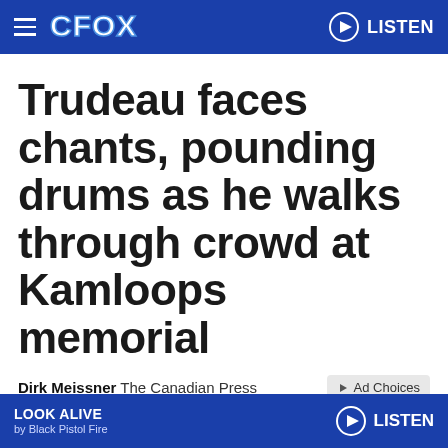CFOX — LISTEN
Trudeau faces chants, pounding drums as he walks through crowd at Kamloops memorial
Dirk Meissner  The Canadian Press
LOOK ALIVE by Black Pistol Fire  LISTEN